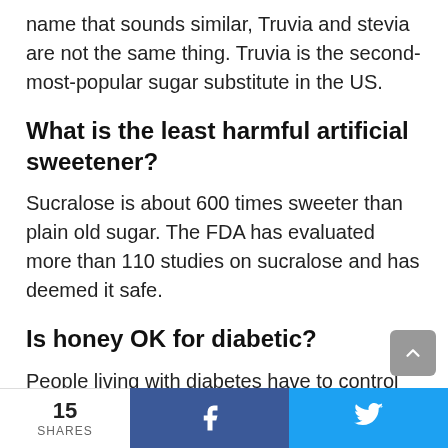name that sounds similar, Truvia and stevia are not the same thing. Truvia is the second-most-popular sugar substitute in the US.
What is the least harmful artificial sweetener?
Sucralose is about 600 times sweeter than plain old sugar. The FDA has evaluated more than 110 studies on sucralose and has deemed it safe.
Is honey OK for diabetic?
People living with diabetes have to control and
15 SHARES